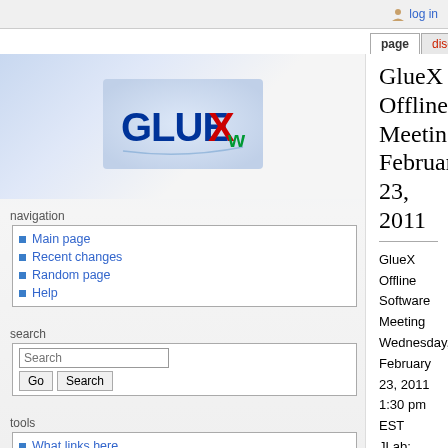log in
GlueX Offline Meeting, February 23, 2011
GlueX Offline Software Meeting
Wednesday, February 23, 2011
1:30 pm EST
JLab: CEBAF Center F326/7
Contents
1 Agenda
2 Communication Information
2.1 Telephone
2.2 Video Conferencing
2.3 Slides
3 Minutes
3.1 Announcements
3.2 Review of minutes from the last meeting
3.3 Configuring JANA
3.4 Calibration Database Update
navigation
Main page
Recent changes
Random page
Help
search
tools
What links here
Related changes
Special pages
Printable version
Permanent link